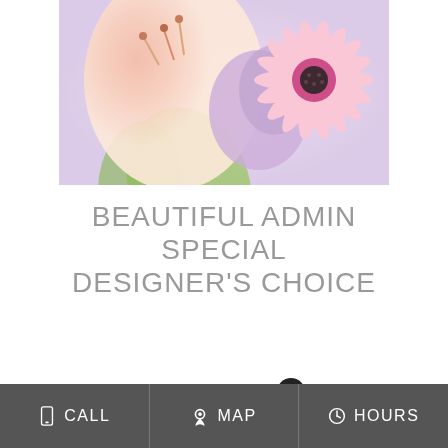[Figure (photo): Close-up photo of pink and purple flowers including lilies, gerbera daisies, and hyacinths]
BEAUTIFUL ADMIN SPECIAL DESIGNER'S CHOICE
Shown at $58.00
BUY NOW
CALL  MAP  HOURS